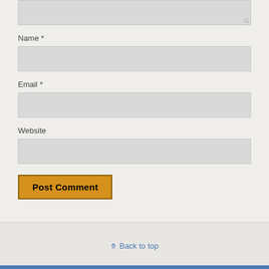[Figure (screenshot): Partial textarea (top of comment form) — only bottom portion visible showing resize handle]
Name *
[Figure (screenshot): Name input field — empty text input box]
Email *
[Figure (screenshot): Email input field — empty text input box]
Website
[Figure (screenshot): Website input field — empty text input box]
[Figure (screenshot): Post Comment button — orange/amber colored button with dark border]
⋀ Back to top